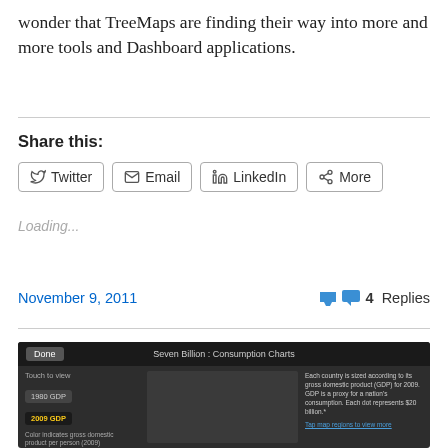wonder that TreeMaps are finding their way into more and more tools and Dashboard applications.
Share this:
Twitter
Email
LinkedIn
More
Loading...
November 9, 2011
4 Replies
[Figure (screenshot): Screenshot of a dark-themed app showing 'Seven Billion : Consumption Charts' with a treemap visualization of world GDP data. Left panel shows touch controls for 1980 GDP and 2009 GDP, color legend for gross domestic product per person. Right side shows explanatory text about each country being sized according to GDP.]